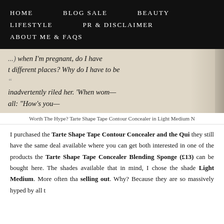HOME   BLOG SALE   BEAUTY   LIFESTYLE   PR & DISCLAIMER   ABOUT ME & FAQs
[Figure (photo): Close-up photo of an open book with italic text visible: '...when I'm pregnant, do I have different places? Why do I have to be inadvertently riled her. When wom...']
Worth The Hype? Tarte Shape Tape Contour Concealer in Light Medium N
I purchased the Tarte Shape Tape Contour Concealer and the Qui they still have the same deal available where you can get both interested in one of the products the Tarte Shape Tape Concealer Blending Sponge (£13) can be bought here. The shades available that in mind, I chose the shade Light Medium. More often tha selling out. Why? Because they are so massively hyped by all t